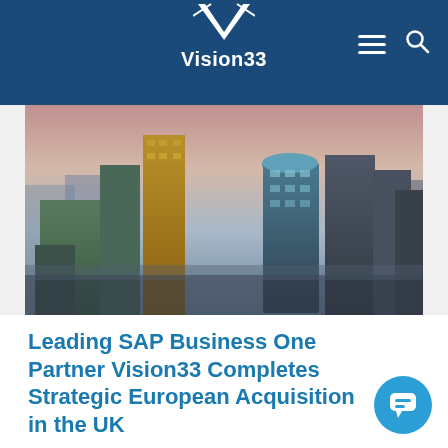Vision33
[Figure (photo): Aerial view of London city skyline with modern skyscrapers including the Gherkin building at dusk/evening, with pink and purple sky tones]
Leading SAP Business One Partner Vision33 Completes Strategic European Acquisition in the UK